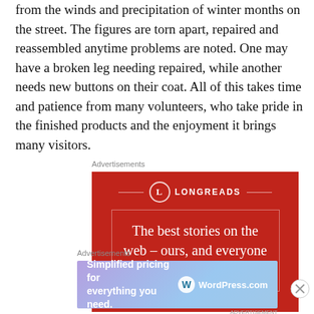from the winds and precipitation of winter months on the street. The figures are torn apart, repaired and reassembled anytime problems are noted. One may have a broken leg needing repaired, while another needs new buttons on their coat. All of this takes time and patience from many volunteers, who take pride in the finished products and the enjoyment it brings many visitors.
Advertisements
[Figure (other): Longreads advertisement banner with red background showing logo and tagline 'The best stories on the web – ours, and everyone else's.']
Advertisements
[Figure (other): WordPress.com advertisement banner with gradient background showing 'Simplified pricing for everything you need.' and WordPress.com logo]